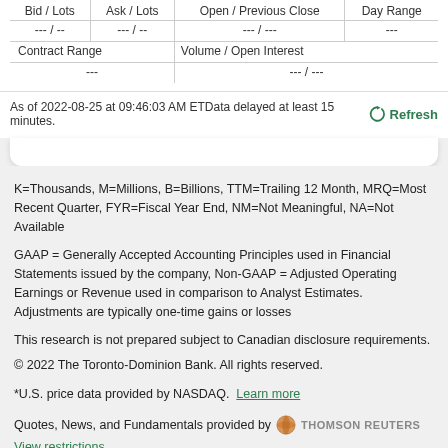| Bid / Lots | Ask / Lots | Open / Previous Close | Day Range |
| --- | --- | --- | --- |
| --- / -- | --- / -- | --- / --- | --- |
| Contract Range | Volume / Open Interest |  |  |
| --- | --- / --- |  |  |
As of 2022-08-25 at 09:46:03 AM ETData delayed at least 15 minutes.
K=Thousands, M=Millions, B=Billions, TTM=Trailing 12 Month, MRQ=Most Recent Quarter, FYR=Fiscal Year End, NM=Not Meaningful, NA=Not Available
GAAP = Generally Accepted Accounting Principles used in Financial Statements issued by the company, Non-GAAP = Adjusted Operating Earnings or Revenue used in comparison to Analyst Estimates. Adjustments are typically one-time gains or losses
This research is not prepared subject to Canadian disclosure requirements.
© 2022 The Toronto-Dominion Bank. All rights reserved.
*U.S. price data provided by NASDAQ. Learn more
Quotes, News, and Fundamentals provided by THOMSON REUTERS View restrictions